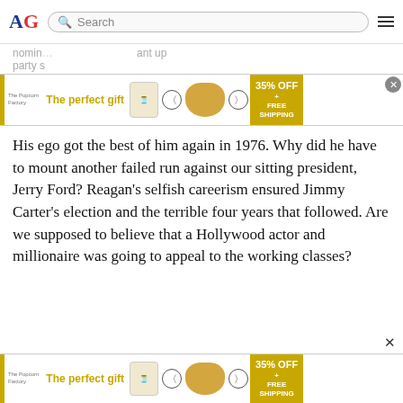AG — Search bar and navigation
[Figure (screenshot): Advertisement banner: The Popcorn Factory gift ad with bowl image, navigation arrows, and 35% OFF + FREE SHIPPING offer]
nomin… party s…
His ego got the best of him again in 1976. Why did he have to mount another failed run against our sitting president, Jerry Ford? Reagan's selfish careerism ensured Jimmy Carter's election and the terrible four years that followed. Are we supposed to believe that a Hollywood actor and millionaire was going to appeal to the working classes?
[Figure (screenshot): Advertisement banner bottom: The Popcorn Factory gift ad with bowl image, navigation arrows, and 35% OFF + FREE SHIPPING offer]